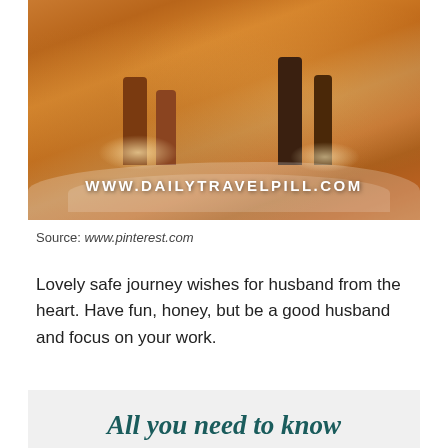[Figure (photo): Two people standing at a beach shore with water and wet sand, warm golden sunset tones. Text overlay reads WWW.DAILYTRAVELPILL.COM]
Source: www.pinterest.com
Lovely safe journey wishes for husband from the heart. Have fun, honey, but be a good husband and focus on your work.
All you need to know is that